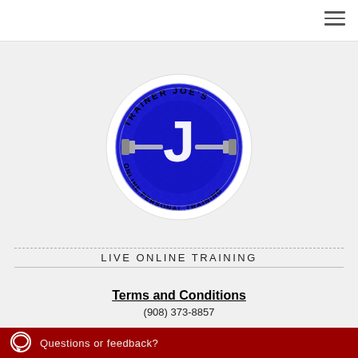[Figure (logo): Trainer Joe's Online Personal Training circular logo with blue background, barbell, and large 'J' letter]
LIVE ONLINE TRAINING
Terms and Conditions
(908) 373-8857
Questions or feedback?